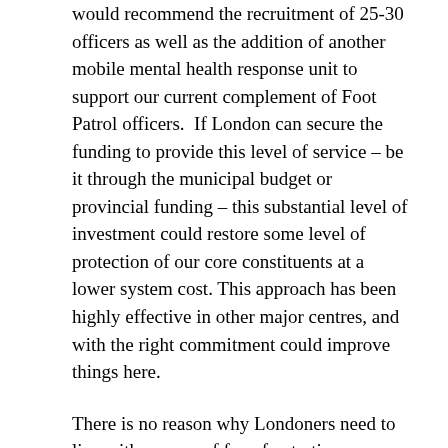would recommend the recruitment of 25-30 officers as well as the addition of another mobile mental health response unit to support our current complement of Foot Patrol officers.  If London can secure the funding to provide this level of service – be it through the municipal budget or provincial funding – this substantial level of investment could restore some level of protection of our core constituents at a lower system cost. This approach has been highly effective in other major centres, and with the right commitment could improve things here.
There is no reason why Londoners need to live with a sense of fear, frustration or anxiety for the safety of themselves and their families. It is incumbent upon those entrusted with the governance of our police services to: (i) provide our officers with the tools/resources they need to effectively perform their duties, and (ii) balance this responsibility with appropriate limits on police power to preserve our public trust in the service.  It was with